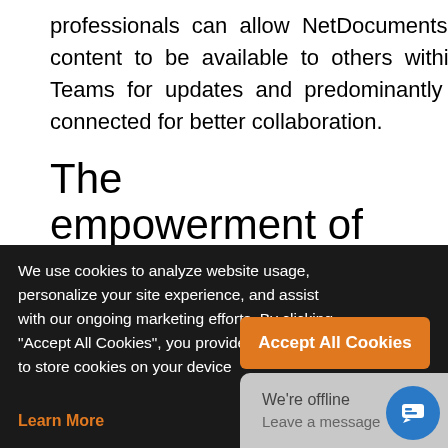professionals can allow NetDocuments content to be available to others within Teams for updates and predominantly stay connected for better collaboration.
The empowerment of
We use cookies to analyze website usage, personalize your site experience, and assist with our ongoing marketing efforts. By clicking "Accept All Cookies", you provide your consent to store cookies on your device
Learn More
Accept All Cookies
We're offline
Leave a message